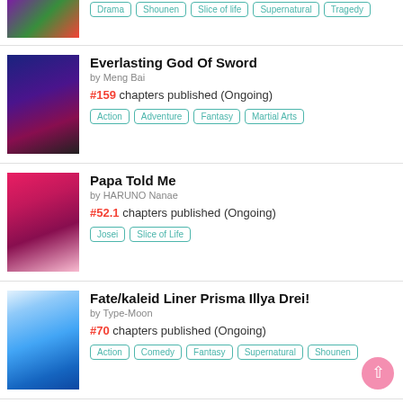[Figure (illustration): Manga cover image for first entry (partial, cropped at top)]
Drama, Shounen, Slice of life, Supernatural, Tragedy (tags for first entry)
Everlasting God Of Sword
by Meng Bai
#159 chapters published (Ongoing)
Action, Adventure, Fantasy, Martial Arts
Papa Told Me
by HARUNO Nanae
#52.1 chapters published (Ongoing)
Josei, Slice of Life
Fate/kaleid Liner Prisma Illya Drei!
by Type-Moon
#70 chapters published (Ongoing)
Action, Comedy, Fantasy, Supernatural, Shounen